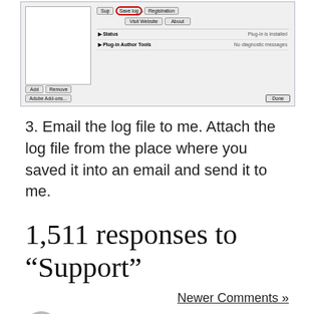[Figure (screenshot): Screenshot of a software plugin/add-on dialog with 'Save log' button highlighted in a red circle, showing Status and Plug-in Author Tools rows, with Add/Remove and Adobe Add-ons/Done buttons.]
3. Email the log file to me. Attach the log file from the place where you saved it into an email and send it to me.
1,511 responses to “Support”
Newer Comments »
Marc says: